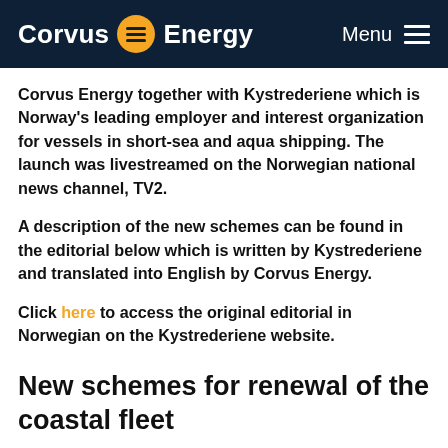Corvus Energy — Menu
Corvus Energy together with Kystrederiene which is Norway's leading employer and interest organization for vessels in short-sea and aqua shipping. The launch was livestreamed on the Norwegian national news channel, TV2.
A description of the new schemes can be found in the editorial below which is written by Kystrederiene and translated into English by Corvus Energy.
Click here to access the original editorial in Norwegian on the Kystrederiene website.
New schemes for renewal of the coastal fleet